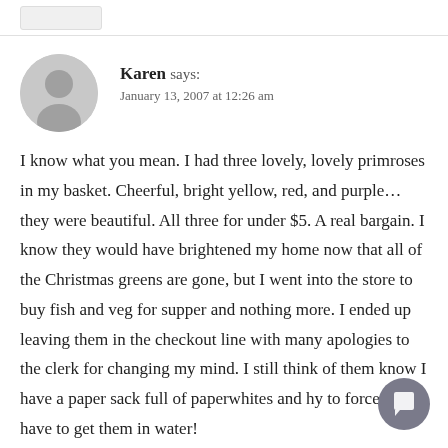Karen says:
January 13, 2007 at 12:26 am
I know what you mean. I had three lovely, lovely primroses in my basket. Cheerful, bright yellow, red, and purple... they were beautiful. All three for under $5. A real bargain. I know they would have brightened my home now that all of the Christmas greens are gone, but I went into the store to buy fish and veg for supper and nothing more. I ended up leaving them in the checkout line with many apologies to the clerk for changing my mind. I still think of them know I have a paper sack full of paperwhites and hy to force. I just have to get them in water!